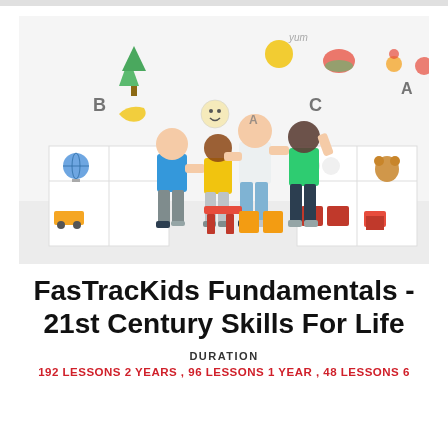[Figure (photo): Four children holding hands and jumping in a colorful classroom with drawings and shelves in the background. Children are wearing blue, yellow, white, and green shirts.]
FasTracKids Fundamentals - 21st Century Skills For Life
DURATION
192 LESSONS 2 YEARS , 96 LESSONS 1 YEAR , 48 LESSONS 6